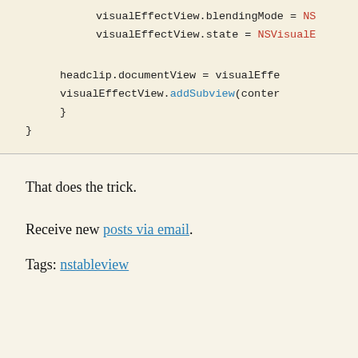[Figure (screenshot): Code block showing Swift/Objective-C code snippet: visualEffectView.blendingMode = NS..., visualEffectView.state = NSVisualE..., headclip.documentView = visualEffe..., visualEffectView.addSubview(conter..., closing braces]
That does the trick.
Receive new posts via email.
Tags: nstableview